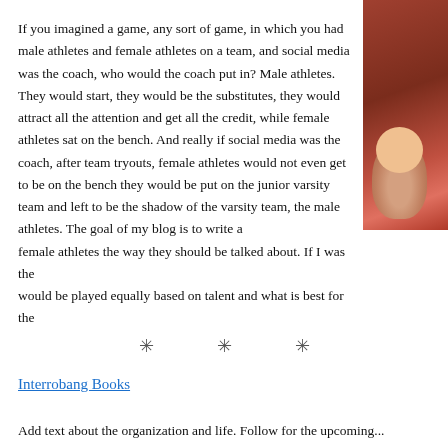If you imagined a game, any sort of game, in which you had male athletes and female athletes on a team, and social media was the coach, who would the coach put in? Male athletes. They would start, they would be the substitutes, they would attract all the attention and get all the credit, while female athletes sat on the bench. And really if social media was the coach, after team tryouts, female athletes would not even get to be on the bench they would be put on the junior varsity team and left to be the shadow of the varsity team, the male athletes. The goal of my blog is to write about female athletes the way they should be talked about. If I was the coach, would be played equally based on talent and what is best for the
[Figure (photo): Photo of a person at what appears to be a sports event, with red and brown tones]
* * *
Interrobang Books
Add text about the organization and life. Follow for the upcoming...